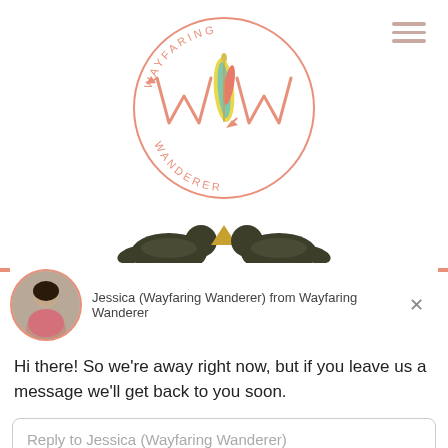[Figure (logo): Wayfaring Wanderer circular logo with stylized WW letters and a feather, in salmon/pink color]
[Figure (illustration): Two dark bird silhouettes facing each other with a small gold triangle between them]
Jessica (Wayfaring Wanderer) from Wayfaring Wanderer
Hi there! So we’re away right now, but if you leave us a message we’ll get back to you soon.
Reply to Jessica (Wayfaring Wanderer)
Chat ⚡ by Drift